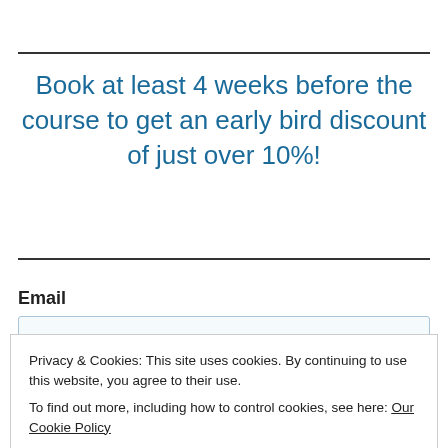Book at least 4 weeks before the course to get an early bird discount of just over 10%!
Email
Privacy & Cookies: This site uses cookies. By continuing to use this website, you agree to their use.
To find out more, including how to control cookies, see here: Our Cookie Policy
Close and accept
Sign up and...